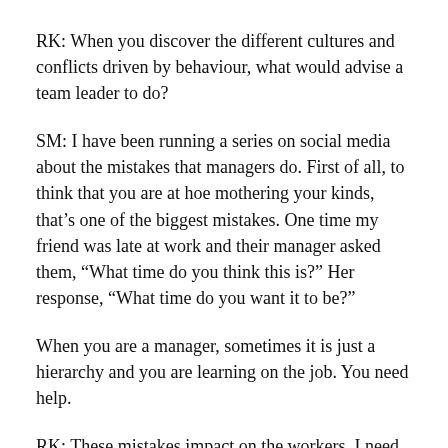RK: When you discover the different cultures and conflicts driven by behaviour, what would advise a team leader to do?
SM: I have been running a series on social media about the mistakes that managers do. First of all, to think that you are at hoe mothering your kinds, that's one of the biggest mistakes. One time my friend was late at work and their manager asked them, “What time do you think this is?” Her response, “What time do you want it to be?”
When you are a manager, sometimes it is just a hierarchy and you are learning on the job. You need help.
RK: These mistakes impact on the workers, I need to ask; if you are advising new employees, someone young